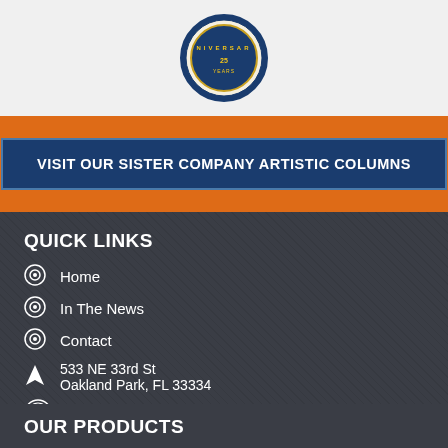[Figure (logo): Circular anniversary logo with blue border and gold/yellow text]
VISIT OUR SISTER COMPANY ARTISTIC COLUMNS
QUICK LINKS
Home
In The News
Contact
533 NE 33rd St
Oakland Park, FL 33334
Phone: 954-564-6245
OUR PRODUCTS